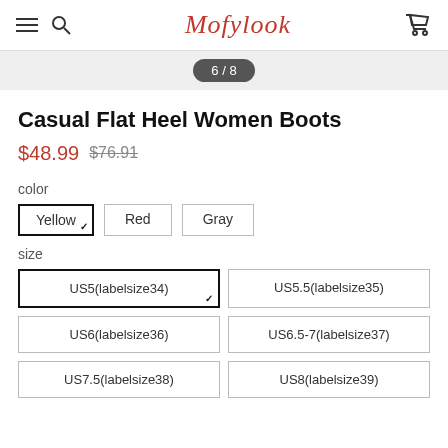Mofylook
6 / 8
Casual Flat Heel Women Boots
$48.99  $76.91
color
Yellow (selected)
Red
Gray
size
US5(labelsize34) (selected)
US5.5(labelsize35)
US6(labelsize36)
US6.5-7(labelsize37)
US7.5(labelsize38)
US8(labelsize39)